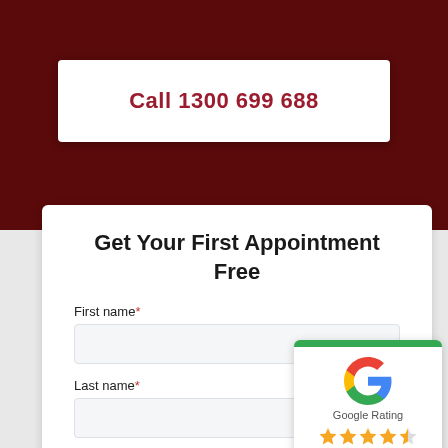Call 1300 699 688
Get Your First Appointment Free
First name*
Last name*
Phone number*
[Figure (logo): Google Rating widget with Google G logo, 'Google Rating' text, and 4.5 star rating shown in orange stars]